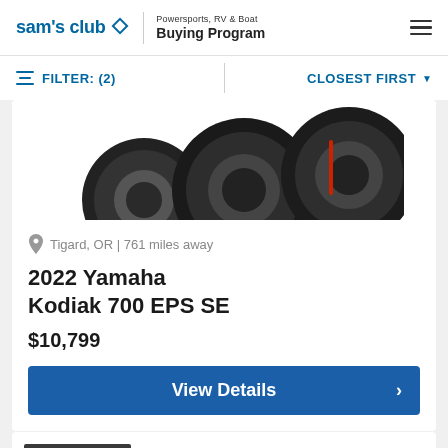sam's club — Powersports, RV & Boat Buying Program
FILTER: (2)   CLOSEST FIRST
[Figure (photo): Partial view of a 2022 Yamaha Kodiak 700 EPS SE ATV showing wheels and tires from above]
Tigard, OR | 761 miles away
2022 Yamaha Kodiak 700 EPS SE
$10,799
View Details
Premium Dealer